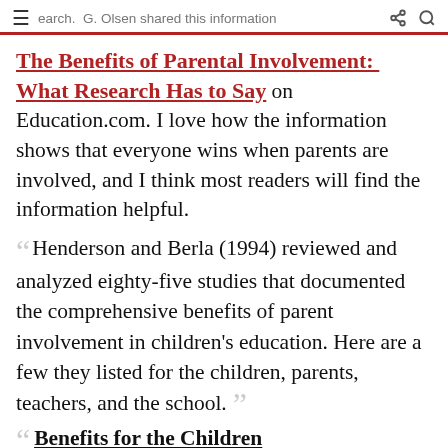earch. G. Olsen shared this information
The Benefits of Parental Involvement: What Research Has to Say on Education.com. I love how the information shows that everyone wins when parents are involved, and I think most readers will find the information helpful.
Henderson and Berla (1994) reviewed and analyzed eighty-five studies that documented the comprehensive benefits of parent involvement in children's education. Here are a few they listed for the children, parents, teachers, and the school.
Benefits for the Children
Children tend to achieve more